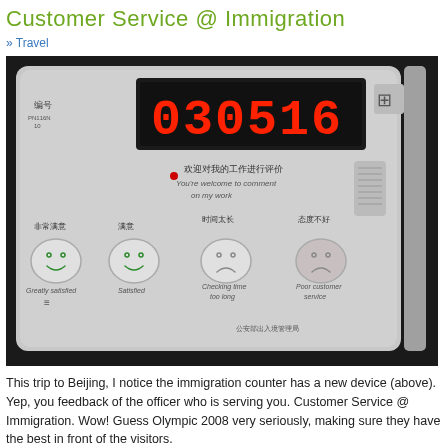Customer Service @ Immigration
» Travel
[Figure (photo): A photo of an immigration counter customer feedback device with a digital number display showing '030516', Chinese text and English text 'You're welcome to comment on my work', and four feedback buttons with smiley/frowny faces labeled: 'Greatly satisfied', 'Satisfied', 'Checking time too long', 'Poor customer service'.]
This trip to Beijing, I notice the immigration counter has a new device (above). Yep, you feedback of the officer who is serving you. Customer Service @ Immigration. Wow! Guess Olympic 2008 very seriously, making sure they have the best in front of the visitors.